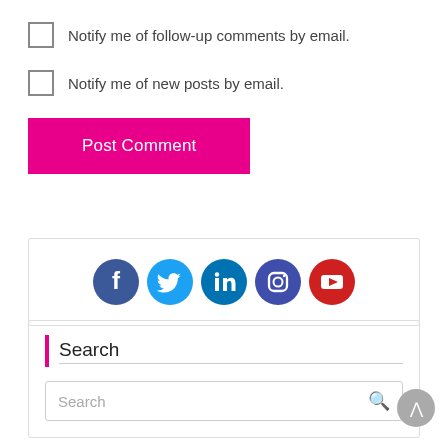Notify me of follow-up comments by email.
Notify me of new posts by email.
Post Comment
[Figure (infographic): Social media icons row: Facebook, Twitter, LinkedIn, Instagram, YouTube]
Search
Search